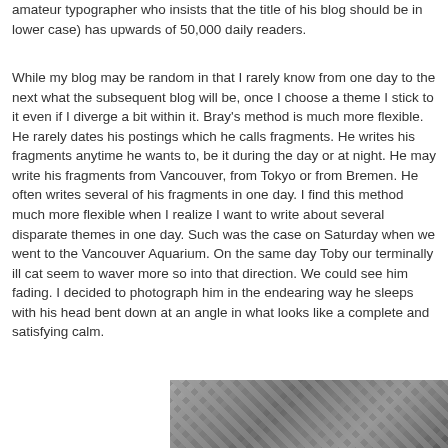amateur typographer who insists that the title of his blog should be in lower case) has upwards of 50,000 daily readers.
While my blog may be random in that I rarely know from one day to the next what the subsequent blog will be, once I choose a theme I stick to it even if I diverge a bit within it. Bray's method is much more flexible. He rarely dates his postings which he calls fragments. He writes his fragments anytime he wants to, be it during the day or at night. He may write his fragments from Vancouver, from Tokyo or from Bremen. He often writes several of his fragments in one day. I find this method much more flexible when I realize I want to write about several disparate themes in one day. Such was the case on Saturday when we went to the Vancouver Aquarium. On the same day Toby our terminally ill cat seem to waver more so into that direction. We could see him fading. I decided to photograph him in the endearing way he sleeps with his head bent down at an angle in what looks like a complete and satisfying calm.
[Figure (photo): Black and white photograph partially visible at the bottom right of the page, appearing to show a tiled or checkered surface pattern.]